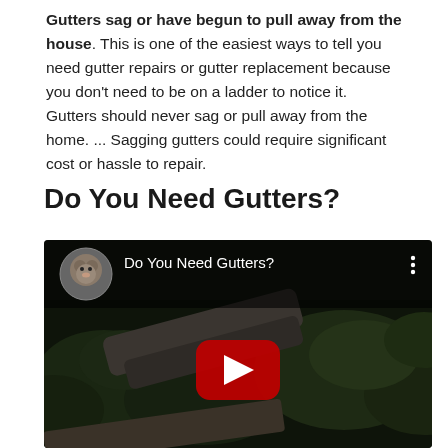Gutters sag or have begun to pull away from the house. This is one of the easiest ways to tell you need gutter repairs or gutter replacement because you don't need to be on a ladder to notice it. Gutters should never sag or pull away from the home. ... Sagging gutters could require significant cost or hassle to repair.
Do You Need Gutters?
[Figure (screenshot): YouTube video embed thumbnail showing a garden/gutter scene at night with a YouTube play button in the center. The video title bar at the top shows a channel avatar (dogs) and the title 'Do You Need Gutters?' with a three-dot menu icon.]